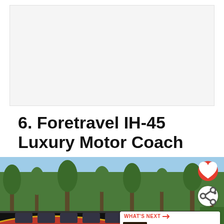[Figure (other): Advertisement placeholder block, light gray background]
6. Foretravel IH-45 Luxury Motor Coach
[Figure (photo): Photo of a large black and red Foretravel IH-45 luxury motor coach parked outdoors with pine trees visible in the background under a blue sky. Overlaid UI elements include a red heart/favorite button, a white share button, and a 'What's Next' card showing a Rolls-Royce Dawn thumbnail.]